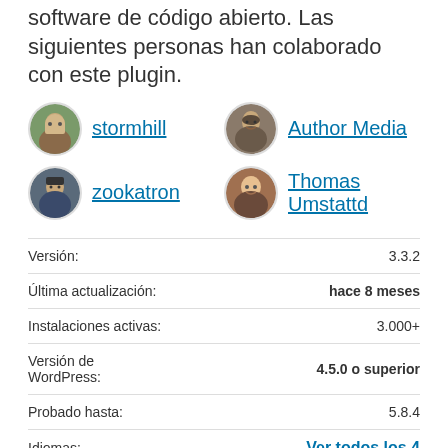software de código abierto. Las siguientes personas han colaborado con este plugin.
[Figure (illustration): Four contributor avatars with usernames: stormhill, Author Media, zookatron, Thomas Umstattd]
| Label | Value |
| --- | --- |
| Versión: | 3.3.2 |
| Última actualización: | hace 8 meses |
| Instalaciones activas: | 3.000+ |
| Versión de WordPress: | 4.5.0 o superior |
| Probado hasta: | 5.8.4 |
| Idiomas: | Ver todos los 4 |
| Etiquetas: | affiliate book books ecommerce store |